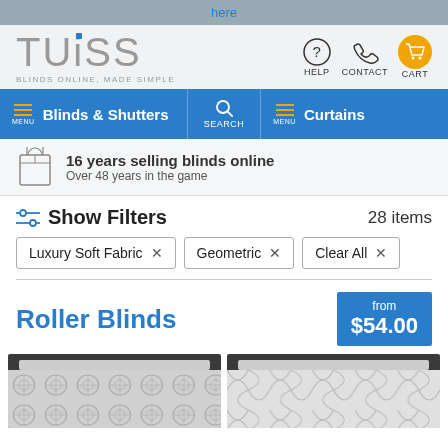here
[Figure (logo): TUISS Blinds Online, Made Simple logo with blue dot on i]
HELP  CONTACT  CART
MENU Blinds & Shutters  SEARCH  MENU Curtains
16 years selling blinds online
Over 48 years in the game
Show Filters  28 items
Luxury Soft Fabric ×
Geometric ×
Clear All ×
Roller Blinds
from $54.00
[Figure (photo): Two roller blind product preview images with geometric patterns]